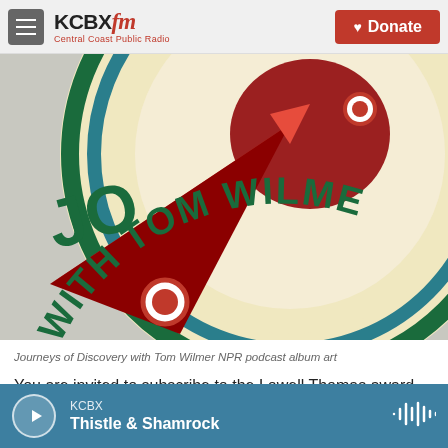KCBX FM Central Coast Public Radio | Donate
[Figure (logo): Journeys of Discovery with Tom Wilmer circular logo showing a compass needle, globe imagery in green, teal, and cream colors with dark red lettering 'WITH TOM WILME' (partially cropped)]
Journeys of Discovery with Tom Wilmer NPR podcast album art
You are invited to subscribe to the Lowell Thomas award-winning NPR Podcast travel show Journeys of Discovery with Tom Wilmer via:
KCBX | Thistle & Shamrock